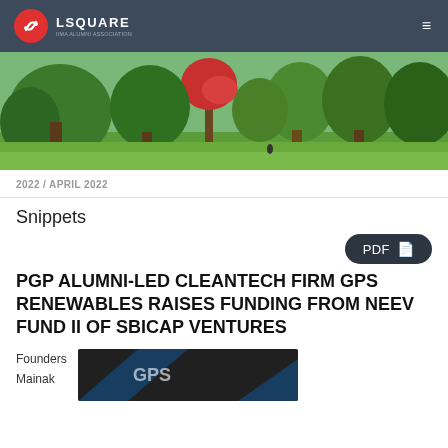LSQUARE
[Figure (photo): Outdoor park scene with lush green trees, a red flowering tree in the background, and a grassy lawn in the foreground.]
2022 / APRIL 2022
Snippets
PDF
PGP ALUMNI-LED CLEANTECH FIRM GPS RENEWABLES RAISES FUNDING FROM NEEV FUND II OF SBICAP VENTURES
Founders
Mainak